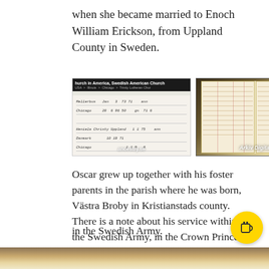when she became married to Enoch William Erickson, from Uppland County in Sweden.
[Figure (photo): Two side-by-side photographs of historical church/parish records. Left image shows an ancestry.se screenshot of a Swedish American Church record with handwritten entries. Right image shows an Arkiv Digital photograph of an open ledger book with columns and handwritten entries.]
Oscar grew up together with his foster parents in the parish where he was born, Västra Broby in Kristianstads county. There is a note about his service within the Swedish Army, in the Crown Prince Cavalry, K7. Oscar left Sweden for North America in September 1912, which means that he was quite young when he did some kind of service in the Swedish Army.